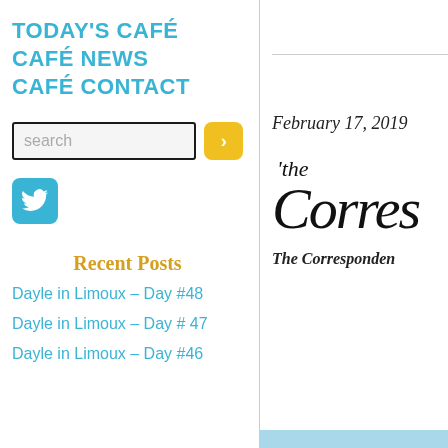TODAY'S CAFÉ
CAFÉ NEWS
CAFÉ CONTACT
[Figure (screenshot): Search input box with dark border and yellow arrow button]
[Figure (logo): Twitter bird icon in teal rounded square button]
Recent Posts
Dayle in Limoux – Day #48
Dayle in Limoux – Day # 47
Dayle in Limoux – Day #46
February 17, 2019
[Figure (logo): The Correspondent cursive script logo]
The Corresponden